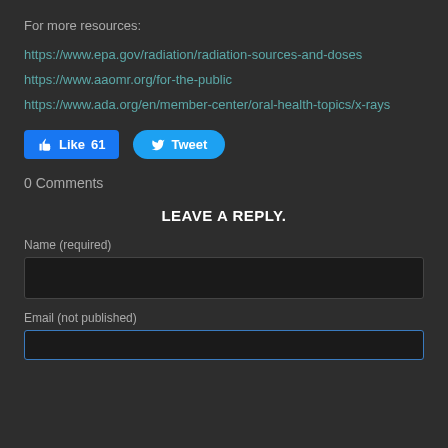For more resources:
https://www.epa.gov/radiation/radiation-sources-and-doses
https://www.aaomr.org/for-the-public
https://www.ada.org/en/member-center/oral-health-topics/x-rays
[Figure (screenshot): Social media buttons: Facebook Like (61) and Twitter Tweet]
0 Comments
LEAVE A REPLY.
Name (required)
Email (not published)